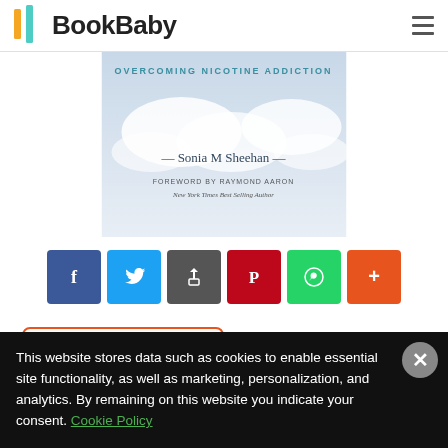BookBaby
[Figure (illustration): Book cover for a book about overcoming nicotine addiction by Sonia M Sheehan, with foreword by Raymond Aaron, New York Times Best Selling Author]
[Figure (infographic): Social share buttons row: Facebook, Twitter, Email/Share, Pinterest, WhatsApp, More (+)]
eBook (AZW, EPub, PDF)
$9.99
This website stores data such as cookies to enable essential site functionality, as well as marketing, personalization, and analytics. By remaining on this website you indicate your consent. Cookie Policy